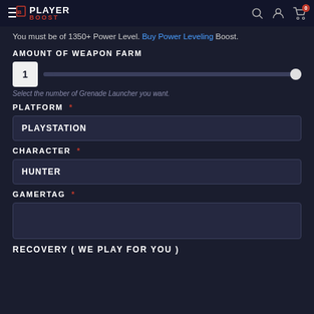PLAYER BOOST
You must be of 1350+ Power Level. Buy Power Leveling Boost.
AMOUNT OF WEAPON FARM
1 [slider]
Select the number of Grenade Launcher you want.
PLATFORM *
PLAYSTATION
CHARACTER *
HUNTER
GAMERTAG *
RECOVERY ( WE PLAY FOR YOU )